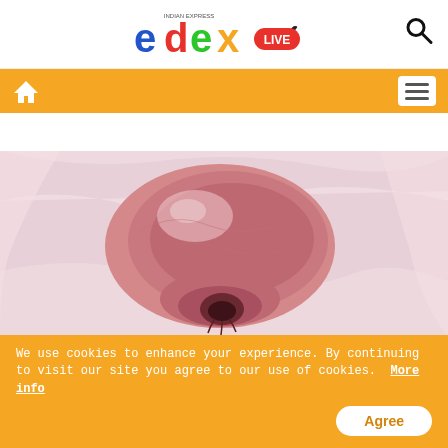edex LIVE — Indian Express (logo + search icon)
Navigation bar with home icon and menu icon
[Figure (photo): Close-up photo of a pink/rose-coloured onion with translucent skin, placed on pink tissue paper, with a glossy appearance]
Here Are Indian Women's Best Formulas For Eternal Beauty
We use cookies to enhance your experience. By continuing to visit our site you agree to our use of cookies. More info
Agree